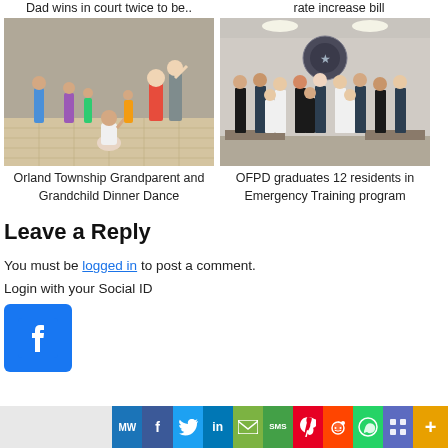Dad wins in court twice to be..
rate increase bill
[Figure (photo): Children and adults dancing at Orland Township Grandparent and Grandchild Dinner Dance]
[Figure (photo): Group of about 12 residents standing in a room for OFPD Emergency Training program graduation]
Orland Township Grandparent and Grandchild Dinner Dance
OFPD graduates 12 residents in Emergency Training program
Leave a Reply
You must be logged in to post a comment.
Login with your Social ID
[Figure (logo): Facebook login button - blue square with white Facebook 'f' logo]
[Figure (infographic): Social share bar with icons: MW, Facebook, Twitter, LinkedIn, Email, SMS, Pinterest, Reddit, WhatsApp, More icons]